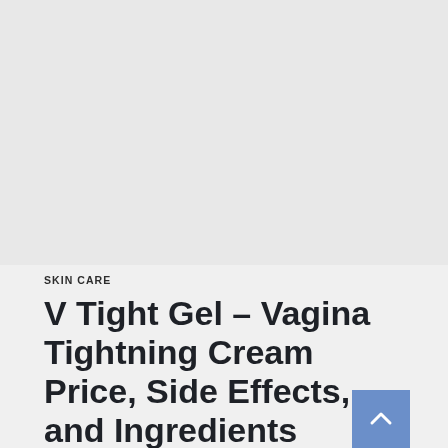[Figure (photo): Large gray/light image area taking up the top portion of the page]
SKIN CARE
V Tight Gel – Vagina Tightning Cream Price, Side Effects, and Ingredients
V Tight Gel Review:- A woman already has a legion of problems to deal with in life and flappy vaginal walls should not be one...